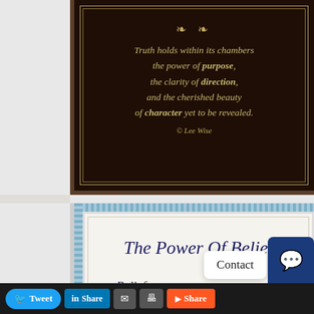[Figure (illustration): Dark brown leather-textured plaque with gold ornamental divider and italic quote text in gold: 'Truth holds within its chambers the power of purpose, the clarity of direction, and the cherished beauty of character yet to be revealed. © Lee Wise']
[Figure (illustration): Certificate-style document with blue patterned border and cream background showing title 'The Power Of Belief' in dark navy italic serif font, with 'Belief' subtitle below]
Contact
Tweet  Share  [email icon]  [print icon]  Share